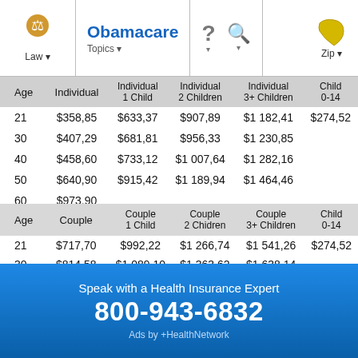Obamacare | Law | Topics | Zip
| Age | Individual | Individual 1 Child | Individual 2 Children | Individual 3+ Children | Child 0-14 |
| --- | --- | --- | --- | --- | --- |
| 21 | $358,85 | $633,37 | $907,89 | $1 182,41 | $274,52 |
| 30 | $407,29 | $681,81 | $956,33 | $1 230,85 |  |
| 40 | $458,60 | $733,12 | $1 007,64 | $1 282,16 |  |
| 50 | $640,90 | $915,42 | $1 189,94 | $1 464,46 |  |
| 60 | $973,90 |  |  |  |  |
| Age | Couple | Couple 1 Child | Couple 2 Chidren | Couple 3+ Children | Child 0-14 |
| --- | --- | --- | --- | --- | --- |
| 21 | $717,70 | $992,22 | $1 266,74 | $1 541,26 | $274,52 |
| 30 | $814,58 | $1 089,10 | $1 363,62 | $1 638,14 |  |
| 40 | $917,20 | $1 191,72 | $1 466,24 | $1 740,76 |  |
| 50 | $1 281,80 | $1 556,32 | $1 830,84 | $2 105,36 |  |
| 60 | $1 947,80 |  |  |  |  |
Speak with a Health Insurance Expert
800-943-6832
Ads by +HealthNetwork